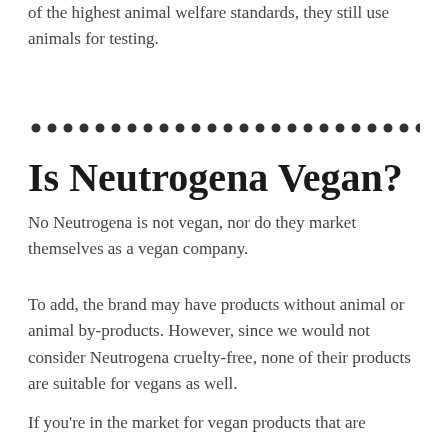of the highest animal welfare standards, they still use animals for testing.
[Figure (other): Horizontal dotted divider line]
Is Neutrogena Vegan?
No Neutrogena is not vegan, nor do they market themselves as a vegan company.
To add, the brand may have products without animal or animal by-products. However, since we would not consider Neutrogena cruelty-free, none of their products are suitable for vegans as well.
If you're in the market for vegan products that are